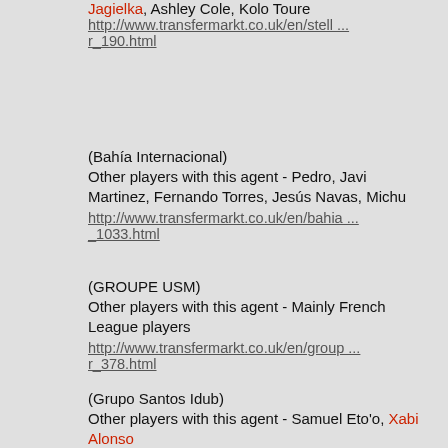Jagielka, Ashley Cole, Kolo Toure
http://www.transfermarkt.co.uk/en/stell ...
r_190.html
(Bahía Internacional)
Other players with this agent - Pedro, Javi Martinez, Fernando Torres, Jesús Navas, Michu
http://www.transfermarkt.co.uk/en/bahia ...
_1033.html
(GROUPE USM)
Other players with this agent - Mainly French League players
http://www.transfermarkt.co.uk/en/group ...
r_378.html
(Grupo Santos Idub)
Other players with this agent - Samuel Eto'o, Xabi Alonso
http://www.transfermarkt.co.uk/en/grupo ...
r_401.html